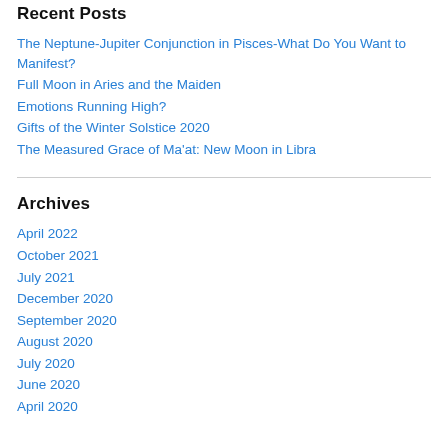Recent Posts
The Neptune-Jupiter Conjunction in Pisces-What Do You Want to Manifest?
Full Moon in Aries and the Maiden
Emotions Running High?
Gifts of the Winter Solstice 2020
The Measured Grace of Ma'at: New Moon in Libra
Archives
April 2022
October 2021
July 2021
December 2020
September 2020
August 2020
July 2020
June 2020
April 2020